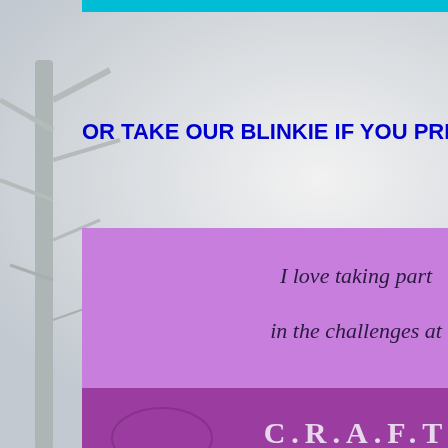[Figure (illustration): Cyan/teal horizontal bar at top of left column]
OR TAKE OUR BLINKIE IF YOU PREFER
[Figure (illustration): Purple blinkie banner reading 'I love taking part in the challenges at C.R.A.F.T Challenge' with URL http://trimmiescraftchallenge.blogspot.com/]
and link to our site
PLEASE TAKE OUR BADGE FOR YOUR BLOG!
[Figure (illustration): Purple badge banner reading 'I love taking part in the challenges at C.R.A.F.T Challenge']
easier. We do not l
Here is the fabulous s
Sponsor: Rick St D